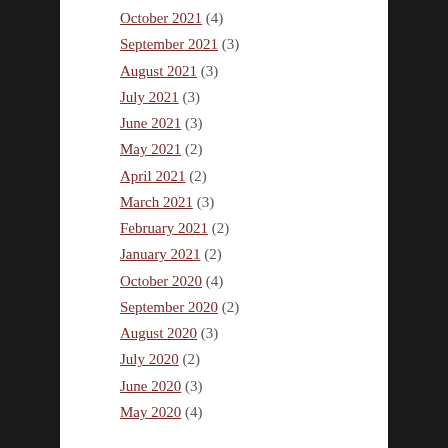October 2021 (4)
September 2021 (3)
August 2021 (3)
July 2021 (3)
June 2021 (3)
May 2021 (2)
April 2021 (2)
March 2021 (3)
February 2021 (2)
January 2021 (2)
October 2020 (4)
September 2020 (2)
August 2020 (3)
July 2020 (2)
June 2020 (3)
May 2020 (4)